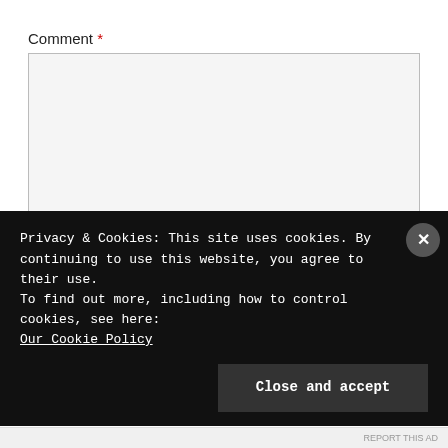Comment *
[Figure (screenshot): Empty comment textarea input field with light gray background and border]
Name *
[Figure (screenshot): Empty name text input field with light gray background and border]
Privacy & Cookies: This site uses cookies. By continuing to use this website, you agree to their use.
To find out more, including how to control cookies, see here:
Our Cookie Policy
Close and accept